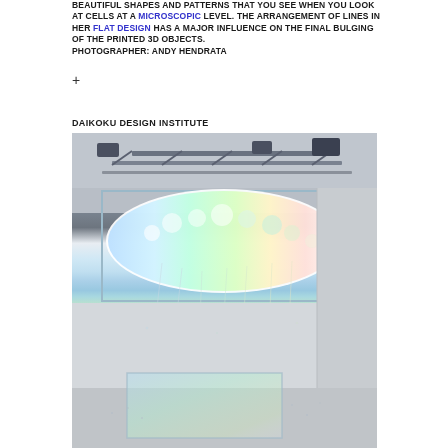BEAUTIFUL SHAPES AND PATTERNS THAT YOU SEE WHEN YOU LOOK AT CELLS AT A MICROSCOPIC LEVEL. THE ARRANGEMENT OF LINES IN HER FLAT DESIGN HAS A MAJOR INFLUENCE ON THE FINAL BULGING OF THE PRINTED 3D OBJECTS. PHOTOGRAPHER: ANDY HENDRATA
+
DAIKOKU DESIGN INSTITUTE
[Figure (photo): Installation artwork showing a large rectangular suspended cloud-like structure with rainbow colors (white, blue, green, yellow gradient) hanging from metal trusses in a gallery space. The installation is lit from above and casts a colorful projection on the white floor below.]